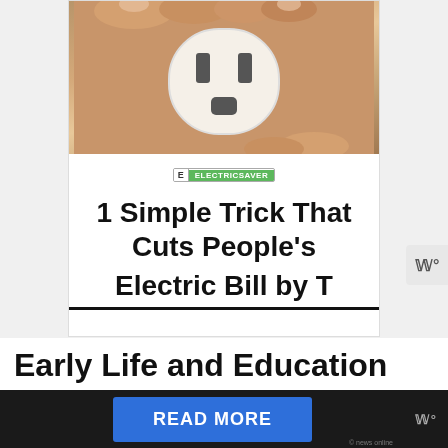[Figure (screenshot): Advertisement banner showing a hand holding an electrical outlet/plug. Contains a green 'ELECTRICSAVER' label tag and bold title text '1 Simple Trick That Cuts People's Electric Bill by T...' (partially cut off). There is a widget icon on the right side.]
Early Life and Education
Zoe Boyle was born in England and spent most of her childhood there. As she was born in a family related to [READ MORE] r the othe[r]ne
READ MORE